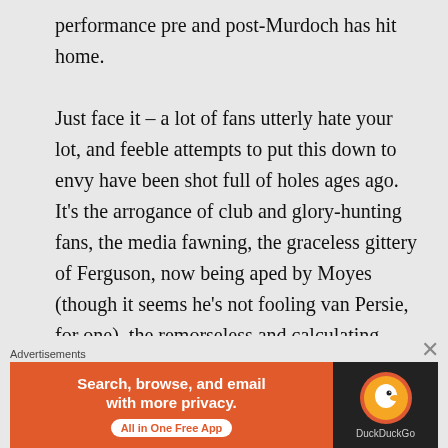performance pre and post-Murdoch has hit home.

Just face it – a lot of fans utterly hate your lot, and feeble attempts to put this down to envy have been shot full of holes ages ago. It's the arrogance of club and glory-hunting fans, the media fawning, the graceless gittery of Ferguson, now being aped by Moyes (though it seems he's not fooling van Persie, for one), the remorseless and calculating exploitation of Munich
Advertisements
[Figure (other): DuckDuckGo advertisement banner: orange left panel with text 'Search, browse, and email with more privacy.' and 'All in One Free App' button; dark right panel with DuckDuckGo duck logo and brand name.]